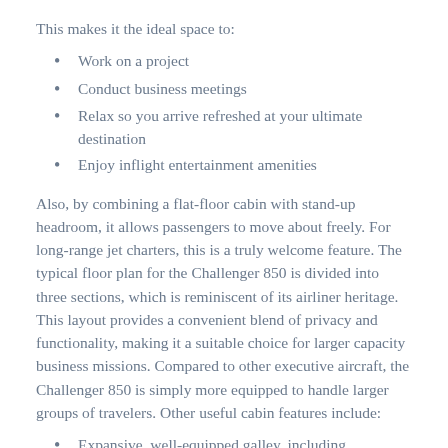This makes it the ideal space to:
Work on a project
Conduct business meetings
Relax so you arrive refreshed at your ultimate destination
Enjoy inflight entertainment amenities
Also, by combining a flat-floor cabin with stand-up headroom, it allows passengers to move about freely. For long-range jet charters, this is a truly welcome feature. The typical floor plan for the Challenger 850 is divided into three sections, which is reminiscent of its airliner heritage. This layout provides a convenient blend of privacy and functionality, making it a suitable choice for larger capacity business missions. Compared to other executive aircraft, the Challenger 850 is simply more equipped to handle larger groups of travelers. Other useful cabin features include:
Expansive, well-equipped galley, including microwave, convection oven and fridge
Aft and forward lavatories for added